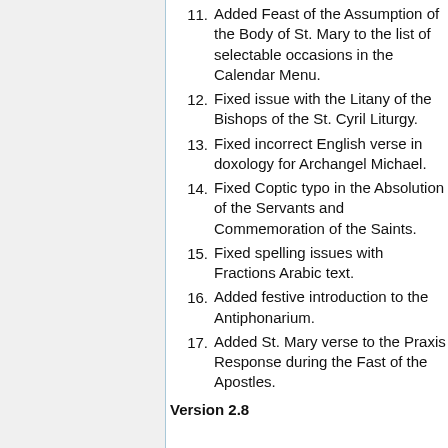11. Added Feast of the Assumption of the Body of St. Mary to the list of selectable occasions in the Calendar Menu.
12. Fixed issue with the Litany of the Bishops of the St. Cyril Liturgy.
13. Fixed incorrect English verse in doxology for Archangel Michael.
14. Fixed Coptic typo in the Absolution of the Servants and Commemoration of the Saints.
15. Fixed spelling issues with Fractions Arabic text.
16. Added festive introduction to the Antiphonarium.
17. Added St. Mary verse to the Praxis Response during the Fast of the Apostles.
Version 2.8